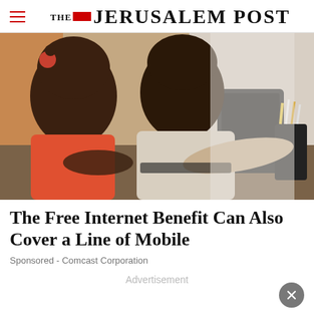THE JERUSALEM POST
[Figure (photo): Two young Black children looking at a tablet/laptop on a desk; pencils and a pencil holder visible in the background.]
The Free Internet Benefit Can Also Cover a Line of Mobile
Sponsored - Comcast Corporation
Advertisement